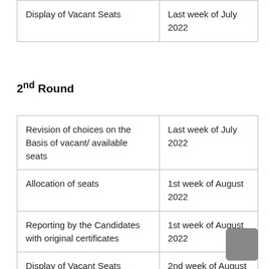| Activity | Timeline |
| --- | --- |
| Display of Vacant Seats | Last week of July 2022 |
2nd Round
| Activity | Timeline |
| --- | --- |
| Revision of choices on the Basis of vacant/ available seats | Last week of July 2022 |
| Allocation of seats | 1st week of August 2022 |
| Reporting by the Candidates with original certificates | 1st week of August 2022 |
| Display of Vacant Seats | 2nd week of August 2022 |